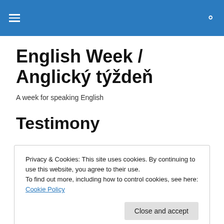English Week / Anglický týždeň
English Week / Anglický týždeň
A week for speaking English
Testimony
Privacy & Cookies: This site uses cookies. By continuing to use this website, you agree to their use.
To find out more, including how to control cookies, see here: Cookie Policy
most mentioned things is their capability to think in English